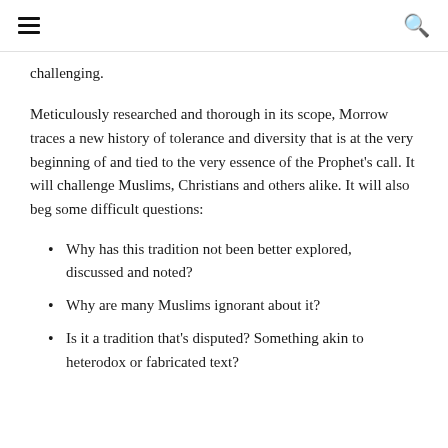[hamburger menu icon] [search icon]
challenging.
Meticulously researched and thorough in its scope, Morrow traces a new history of tolerance and diversity that is at the very beginning of and tied to the very essence of the Prophet's call. It will challenge Muslims, Christians and others alike. It will also beg some difficult questions:
Why has this tradition not been better explored, discussed and noted?
Why are many Muslims ignorant about it?
Is it a tradition that's disputed? Something akin to heterodox or fabricated text?